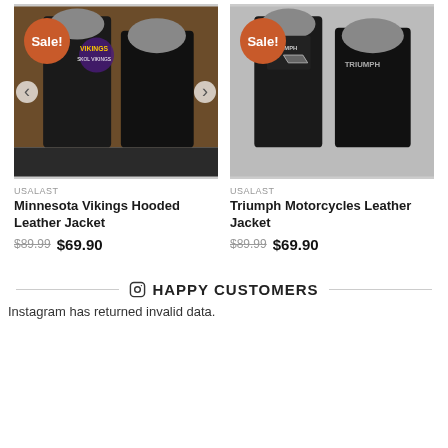[Figure (photo): Minnesota Vikings Hooded Leather Jacket product photo with Sale badge, showing front and back views on dark background]
USALAST
Minnesota Vikings Hooded Leather Jacket
$89.99 $69.90
[Figure (photo): Triumph Motorcycles Leather Jacket product photo with Sale badge, showing front and back views on grey background]
USALAST
Triumph Motorcycles Leather Jacket
$89.99 $69.90
HAPPY CUSTOMERS
Instagram has returned invalid data.